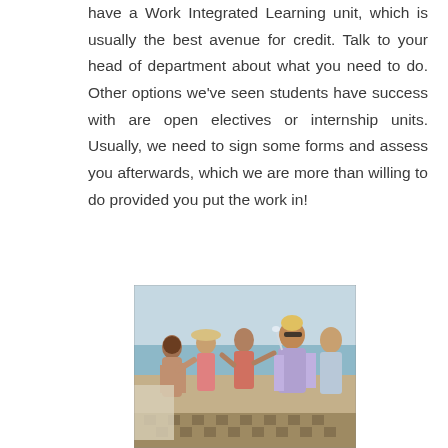have a Work Integrated Learning unit, which is usually the best avenue for credit. Talk to your head of department about what you need to do. Other options we've seen students have success with are open electives or internship units. Usually, we need to sign some forms and assess you afterwards, which we are more than willing to do provided you put the work in!
[Figure (photo): Group of young people at a beach, some in swimwear, socializing and celebrating outdoors.]